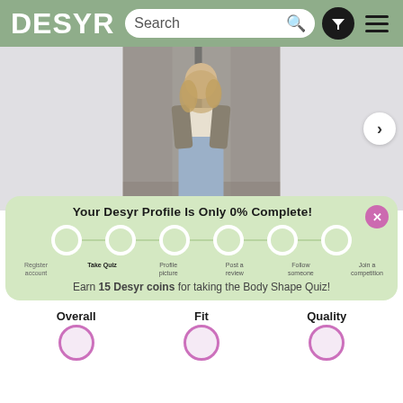DESYR — Search bar with filter and menu
[Figure (photo): Woman standing in front of a glass door, wearing a grey blazer, white crop top, and light blue jeans, with long blonde hair]
Your Desyr Profile Is Only 0% Complete!
Register account | Take Quiz | Profile picture | Post a review | Follow someone | Join a competition
Earn 15 Desyr coins for taking the Body Shape Quiz!
Overall | (partial) | (partial) | Quality (partial)